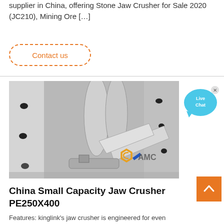supplier in China, offering Stone Jaw Crusher for Sale 2020 (JC210), Mining Ore […]
Contact us
[Figure (photo): Close-up photo of a jaw crusher machine in a factory/warehouse setting, showing heavy grey metal components, rollers, and mechanical parts. AMC logo watermark visible on the photo.]
[Figure (illustration): Live Chat bubble icon in blue/cyan color with an 'x' close button in upper right corner, and text 'Live Chat' inside.]
China Small Capacity Jaw Crusher PE250X400
Features: kinglink's jaw crusher is engineered for even